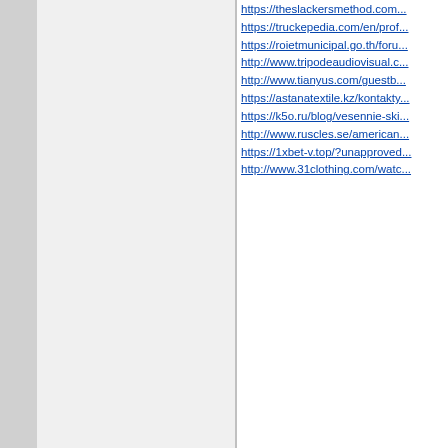https://theslackersmethod.com...
https://truckepedia.com/en/prof...
https://roietmunicipal.go.th/foru...
http://www.tripodeaudiovisual.c...
http://www.tianyus.com/guestb...
https://astanatextile.kz/kontakty...
https://k5o.ru/blog/vesennie-ski...
http://www.ruscles.se/american...
https://1xbet-v.top/?unapproved...
http://www.31clothing.com/watc...
WonNaile
#551 - 14 июля 2021 в 04:47
Файл "https://i.ibb.co/TvdVKkx...
Файл "https://i.ibb.co/Lv6390Z...
Сообщений: 2726
п»ïFixed Matches 100% Sure B...
Football Fixed Matches.
Football Fixed Matches.